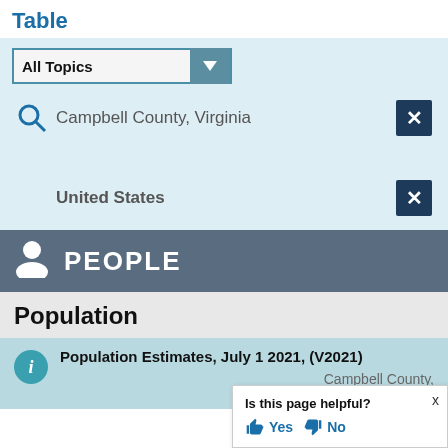Table
All Topics (dropdown)
Campbell County, Virginia
United States
PEOPLE
Population
Population Estimates, July 1 2021, (V2021)
Campbell County,
United Sta
Is this page helpful? Yes No